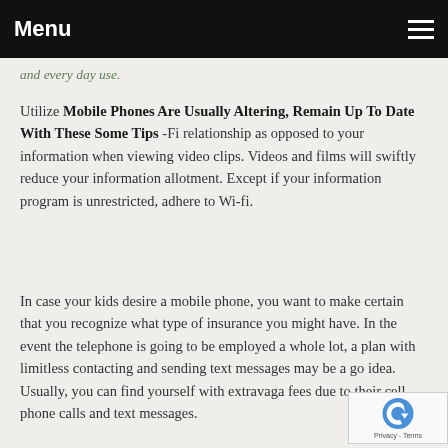Menu
and every day use.
Utilize Mobile Phones Are Usually Altering, Remain Up To Date With These Some Tips -Fi relationship as opposed to your information when viewing video clips. Videos and films will swiftly reduce your information allotment. Except if your information program is unrestricted, adhere to Wi-fi.
In case your kids desire a mobile phone, you want to make certain that you recognize what type of insurance you might have. In the event the telephone is going to be employed a whole lot, a plan with limitless contacting and sending text messages may be a go idea. Usually, you can find yourself with extravaga fees due to their cell phone calls and text messages.